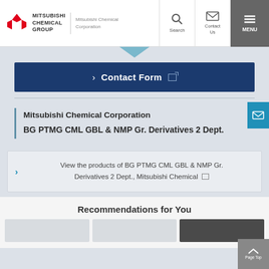[Figure (screenshot): Mitsubishi Chemical Group website header with logo, Search, Contact Us, and MENU buttons]
[Figure (other): Contact Form button in dark navy blue]
Mitsubishi Chemical Corporation
BG PTMG CML GBL & NMP Gr. Derivatives 2 Dept.
View the products of BG PTMG CML GBL & NMP Gr. Derivatives 2 Dept., Mitsubishi Chemical
Recommendations for You